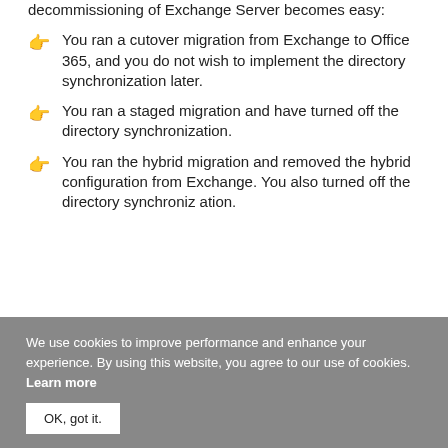decommissioning of Exchange Server becomes easy:
You ran a cutover migration from Exchange to Office 365, and you do not wish to implement the directory synchronization later.
You ran a staged migration and have turned off the directory synchronization.
You ran the hybrid migration and removed the hybrid configuration from Exchange. You also turned off the directory synchronization.
We use cookies to improve performance and enhance your experience. By using this website, you agree to our use of cookies. Learn more
OK, got it.